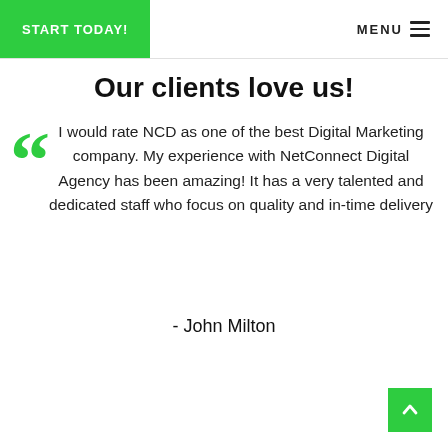START TODAY! | MENU
Our clients love us!
I would rate NCD as one of the best Digital Marketing company. My experience with NetConnect Digital Agency has been amazing! It has a very talented and dedicated staff who focus on quality and in-time delivery
- John Milton